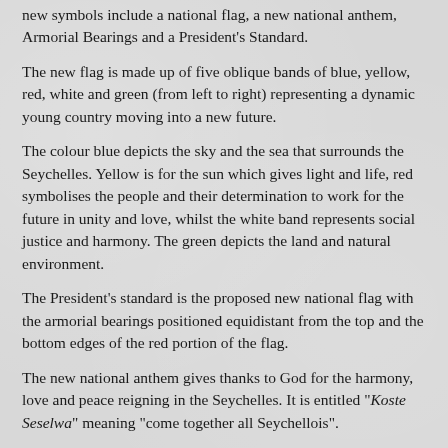new symbols include a national flag, a new national anthem, Armorial Bearings and a President's Standard.
The new flag is made up of five oblique bands of blue, yellow, red, white and green (from left to right) representing a dynamic young country moving into a new future.
The colour blue depicts the sky and the sea that surrounds the Seychelles. Yellow is for the sun which gives light and life, red symbolises the people and their determination to work for the future in unity and love, whilst the white band represents social justice and harmony. The green depicts the land and natural environment.
The President's standard is the proposed new national flag with the armorial bearings positioned equidistant from the top and the bottom edges of the red portion of the flag.
The new national anthem gives thanks to God for the harmony, love and peace reigning in the Seychelles. It is entitled "Koste Seselwa" meaning "come together all Seychellois".